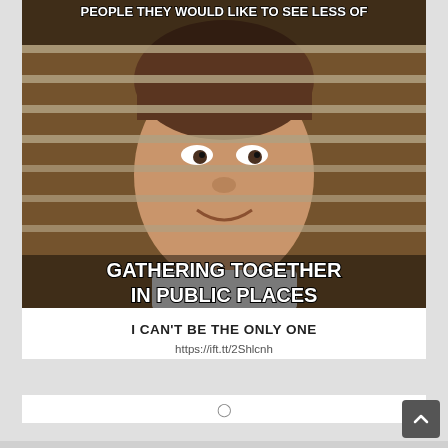[Figure (photo): Meme image showing a man peeking through window blinds with text overlay: top text 'PEOPLE THEY WOULD LIKE TO SEE LESS OF', bottom text 'GATHERING TOGETHER IN PUBLIC PLACES']
I CAN'T BE THE ONLY ONE
https://ift.tt/2Shlcnh